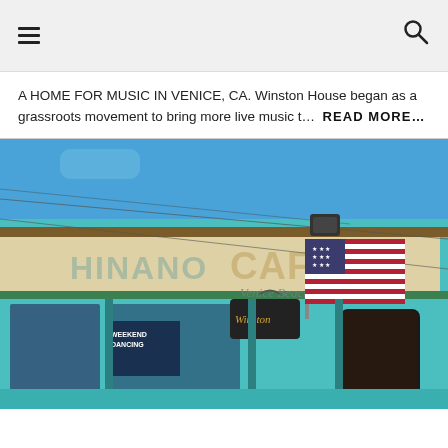≡  🔍
A HOME FOR MUSIC IN VENICE, CA. Winston House began as a grassroots movement to bring more live music t…  READ MORE…
[Figure (photo): Exterior photograph of Hinano Cafe at Venice Beach, a teal/turquoise painted building with a large sign reading 'Hinano Cafe Venice Beach', an American flag mounted above the entrance, and a hanging sign. Blue sky visible above.]